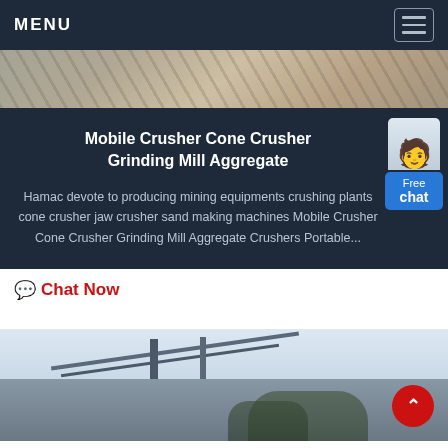MENU
[Figure (photo): Industrial mining equipment and stone crushing site, top banner photo]
Mobile Crusher Cone Crusher Grinding Mill Aggregate
Hamac devote to producing mining equipments crushing plants cone crusher jaw crusher sand making machines Mobile Crusher Cone Crusher Grinding Mill Aggregate Crushers Portable...
[Figure (illustration): Customer service representative figure with Free chat button widget]
Chat Now
[Figure (photo): Industrial conveyor belt or processing plant structure, bottom photo]